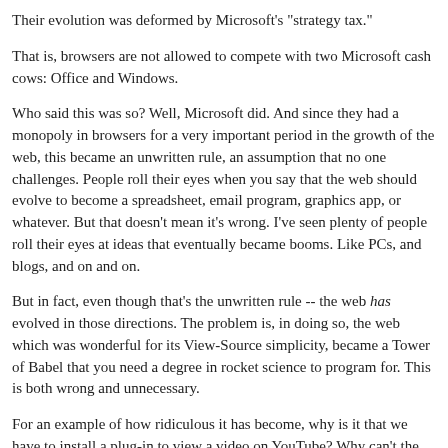Their evolution was deformed by Microsoft's "strategy tax."
That is, browsers are not allowed to compete with two Microsoft cash cows: Office and Windows.
Who said this was so? Well, Microsoft did. And since they had a monopoly in browsers for a very important period in the growth of the web, this became an unwritten rule, an assumption that no one challenges. People roll their eyes when you say that the web should evolve to become a spreadsheet, email program, graphics app, or whatever. But that doesn't mean it's wrong. I've seen plenty of people roll their eyes at ideas that eventually became booms. Like PCs, and blogs, and on and on.
But in fact, even though that's the unwritten rule -- the web has evolved in those directions. The problem is, in doing so, the web which was wonderful for its View-Source simplicity, became a Tower of Babel that you need a degree in rocket science to program for. This is both wrong and unnecessary.
For an example of how ridiculous it has become, why is it that we have to install a plug-in to view a video on YouTube? Why can't the browser do that on its own?
Another example. I have a two-level expand-collapse display on my